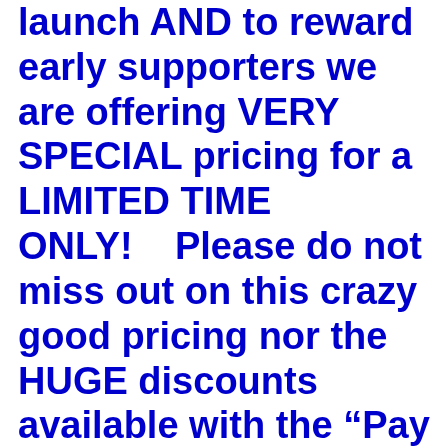launch AND to reward early supporters we are offering VERY SPECIAL pricing for a LIMITED TIME ONLY!    Please do not miss out on this crazy good pricing nor the HUGE discounts available with the “Pay in Full” option.  This opportunity will END SOON!